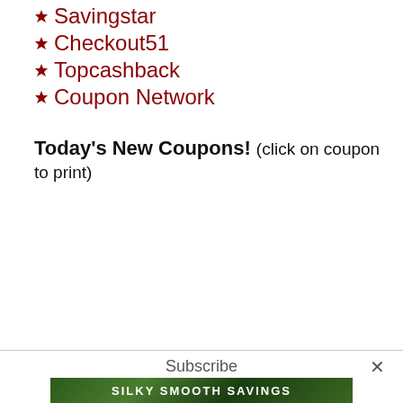Savingstar
Checkout51
Topcashback
Coupon Network
Today's New Coupons! (click on coupon to print)
Subscribe
[Figure (illustration): Green foliage banner with text SILKY SMOOTH SAVINGS]